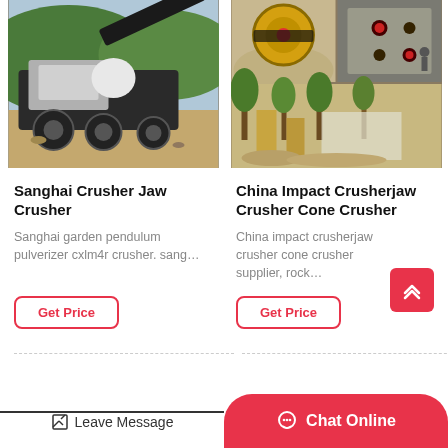[Figure (photo): Mobile jaw crusher machine on dirt construction/mining site with green hills in background]
[Figure (photo): Three-image collage: top-left shows crusher wheel mechanism, top-right shows jaw crusher face plate, bottom shows outdoor crusher plant with trees and gravel piles]
Sanghai Crusher Jaw Crusher
China Impact Crusherjaw Crusher Cone Crusher
Sanghai garden pendulum pulverizer cxlm4r crusher. sang…
China impact crusherjaw crusher cone crusher supplier, rock…
Get Price
Get Price
Leave Message   Chat Online